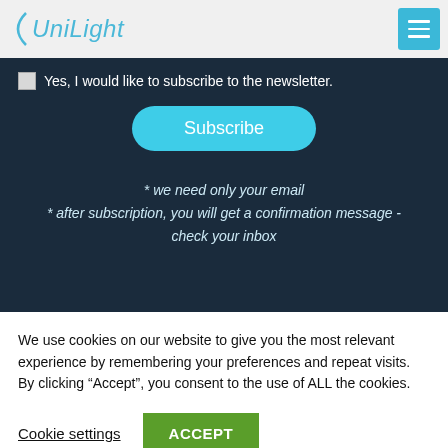UniLight
Yes, I would like to subscribe to the newsletter.
Subscribe
* we need only your email
* after subscription, you will get a confirmation message - check your inbox
We use cookies on our website to give you the most relevant experience by remembering your preferences and repeat visits. By clicking “Accept”, you consent to the use of ALL the cookies.
Cookie settings
ACCEPT